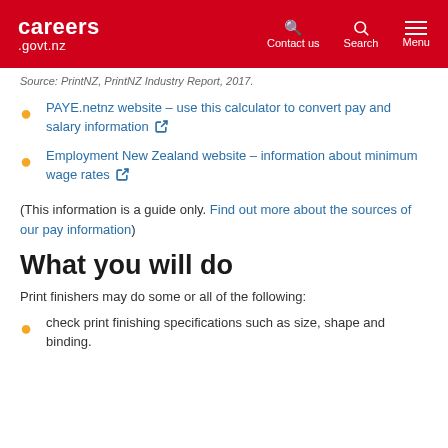careers.govt.nz | Contact us | Search | Menu
Source: PrintNZ, PrintNZ Industry Report, 2017.
PAYE.netnz website – use this calculator to convert pay and salary information
Employment New Zealand website – information about minimum wage rates
(This information is a guide only. Find out more about the sources of our pay information)
What you will do
Print finishers may do some or all of the following:
check print finishing specifications such as size, shape and binding.